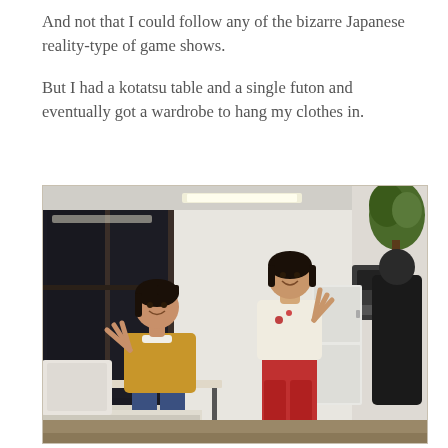And not that I could follow any of the bizarre Japanese reality-type of game shows.
But I had a kotatsu table and a single futon and eventually got a wardrobe to hang my clothes in.
[Figure (photo): An old photograph showing two young Asian children in what appears to be a classroom or office setting. One child sits at a desk wearing a yellow sweater, the other stands wearing a white top and red pants. Both are smiling and making peace signs with their hands. The background shows large dark windows, white walls, and some office furniture and plants.]